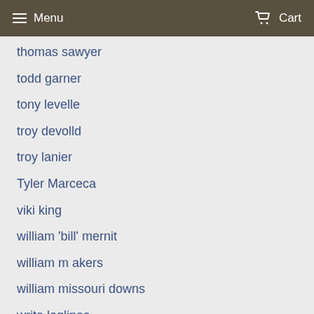Menu   Cart
thomas sawyer
todd garner
tony levelle
troy devolld
troy lanier
Tyler Marceca
viki king
william 'bill' mernit
william m akers
william missouri downs
write loglines
writing for tv
writing loglines